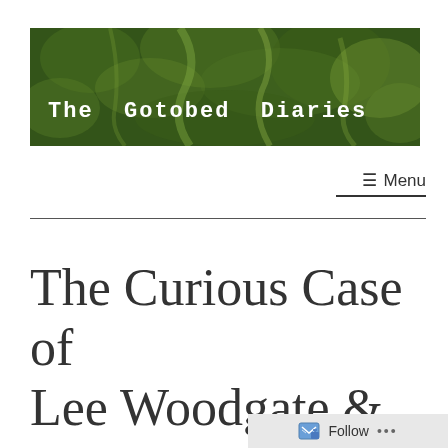[Figure (photo): Dark green textured banner image resembling foliage or rock surface, used as the website header background for 'The Gotobed Diaries']
The Gotobed Diaries
≡ Menu
The Curious Case of Lee Woodgate &